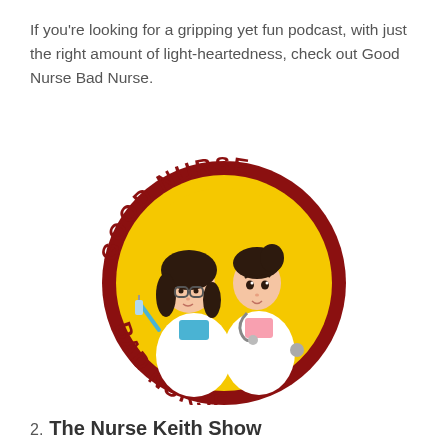If you're looking for a gripping yet fun podcast, with just the right amount of light-heartedness, check out Good Nurse Bad Nurse.
[Figure (logo): Good Nurse Bad Nurse podcast logo. A circular badge with a dark red border. Inside is a yellow circle with two cartoon nurse characters — one on the left wearing glasses and a white coat holding a syringe, one on the right wearing a white coat with a stethoscope. Around the top arc reads 'GOOD NURSE' and around the bottom arc reads 'BAD NURSE' in bold dark red letters.]
2. The Nurse Keith Show